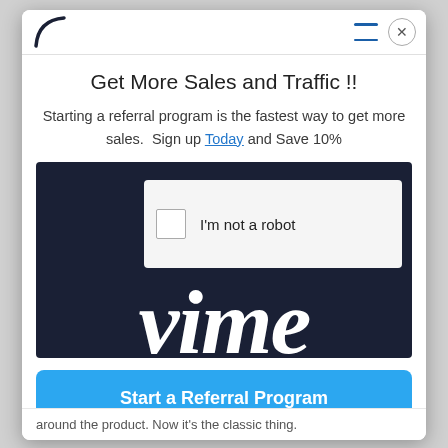Get More Sales and Traffic !!
Starting a referral program is the fastest way to get more sales.  Sign up Today and Save 10%
[Figure (screenshot): CAPTCHA widget showing a checkbox labeled 'I'm not a robot' on a dark navy background with partial Vimeo logo text visible]
Start a Referral Program
No Thanks.  I Have Enough Sales
around the product. Now it's the classic thing.